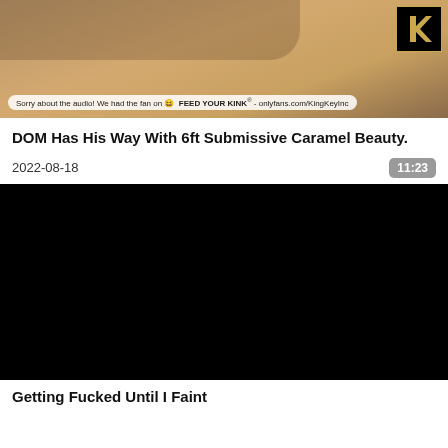[Figure (screenshot): Video thumbnail showing a person, with overlay text 'Sorry about the audio! We had the fan on 😆 FEED YOUR KINK - onlyfans.com/KingKeyInc' and a logo in upper right corner]
DOM Has His Way With 6ft Submissive Caramel Beauty.
2022-08-18
11:23
[Figure (screenshot): Black video player area]
Getting Fucked Until I Faint